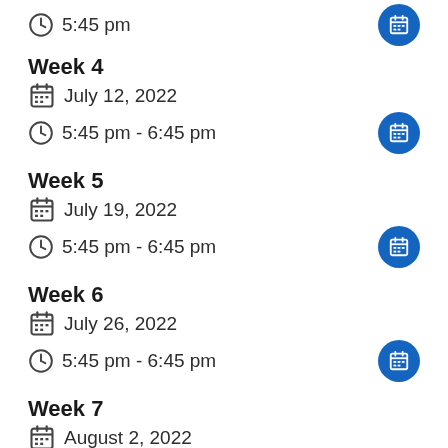5:45 pm
Week 4
July 12, 2022
5:45 pm - 6:45 pm
Week 5
July 19, 2022
5:45 pm - 6:45 pm
Week 6
July 26, 2022
5:45 pm - 6:45 pm
Week 7
August 2, 2022
5:45 pm - 6:45 pm
Week 8